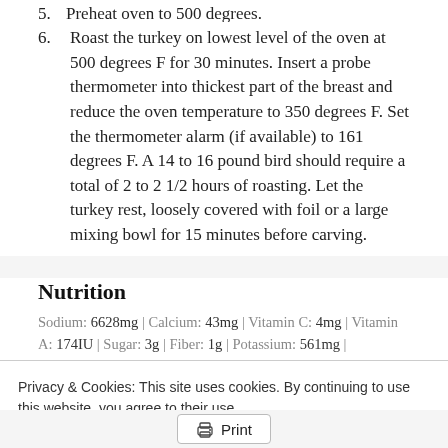5. Preheat oven to 500 degrees.
6. Roast the turkey on lowest level of the oven at 500 degrees F for 30 minutes. Insert a probe thermometer into thickest part of the breast and reduce the oven temperature to 350 degrees F. Set the thermometer alarm (if available) to 161 degrees F. A 14 to 16 pound bird should require a total of 2 to 2 1/2 hours of roasting. Let the turkey rest, loosely covered with foil or a large mixing bowl for 15 minutes before carving.
Nutrition
Sodium: 6628mg | Calcium: 43mg | Vitamin C: 4mg | Vitamin A: 174IU | Sugar: 3g | Fiber: 1g | Potassium: 561mg | Cholesterol: 174mg | Calories: 357kcal | Saturated Fat: 4g | Fat: 14g | Protein: 52g | Carbohydrates: 4g | Iron: 2mg
Privacy & Cookies: This site uses cookies. By continuing to use this website, you agree to their use.
To find out more, including how to control cookies, see here: Cookie Policy
Close and accept
Print